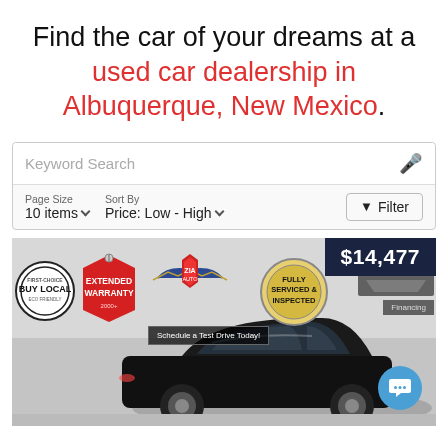Find the car of your dreams at a used car dealership in Albuquerque, New Mexico.
[Figure (screenshot): Search bar with keyword search field and microphone icon, page size selector showing 10 items, sort by price low to high, and filter button]
[Figure (photo): Car dealership listing showing a black sedan with price badge $14,477, Buy Local badge, Extended Warranty badge, Zia Auto logo, Schedule a Test Drive Today button, Fully Serviced & Inspected badge, Credit Union and Financing badges, and a chat button]